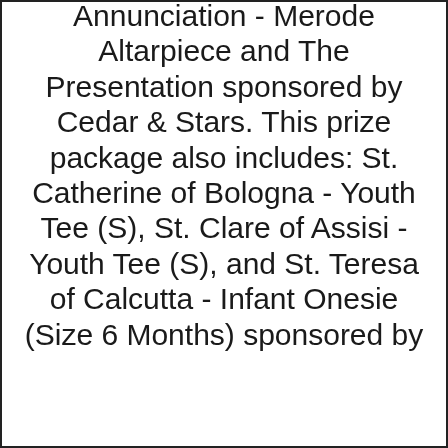Annunciation - Merode Altarpiece and The Presentation sponsored by Cedar & Stars. This prize package also includes: St. Catherine of Bologna - Youth Tee (S), St. Clare of Assisi - Youth Tee (S), and St. Teresa of Calcutta - Infant Onesie (Size 6 Months) sponsored by